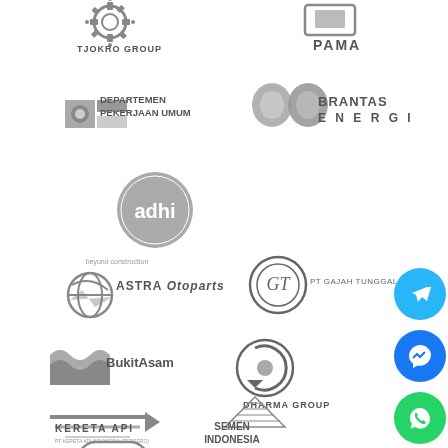[Figure (logo): Tjokro Group logo - grayscale gear/cog icon with text TJOKRO GROUP]
[Figure (logo): PAMA logo - grayscale box/container icon with text PAMA]
[Figure (logo): Departemen Pekerjaan Umum logo - grayscale circular icon with text DEPARTEMEN PEKERJAAN UMUM]
[Figure (logo): Brantas Energi logo - grayscale shield/butterfly icon with text BRANTAS ENERGI]
[Figure (logo): Adhi logo - circle with adhi text and beyond construction tagline]
[Figure (logo): Krakatau Steel logo - trapezoid icon with text KRAKATAU STEEL]
[Figure (logo): Astra Otoparts logo - globe icon with ASTRA Otoparts text]
[Figure (logo): PT Gajah Tunggal Tbk logo - circular GT monogram with text PT GAJAH TUNGGAL Tbk]
[Figure (logo): Bukit Asam logo - stylized water/mountain icon with BukitAsam text]
[Figure (logo): Dharma Group logo - circular arrow/disc icon with DHARMA GROUP text]
[Figure (logo): Kereta Api logo - speed lines/train icon with KERETA API text and PT Kereta Api Indonesia tagline]
[Figure (logo): Semen Indonesia logo - pyramid/ziggurat icon with SEMEN INDONESIA text]
[Figure (logo): WIKA logo - partial view at bottom]
[Figure (logo): Halliburton logo - partial view at bottom]